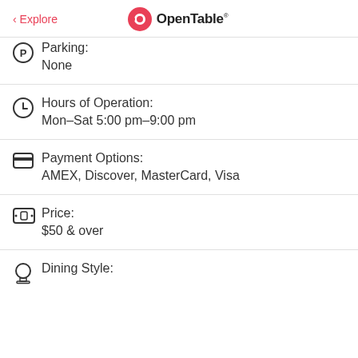< Explore | OpenTable
Parking: None
Hours of Operation: Mon–Sat 5:00 pm–9:00 pm
Payment Options: AMEX, Discover, MasterCard, Visa
Price: $50 & over
Dining Style: